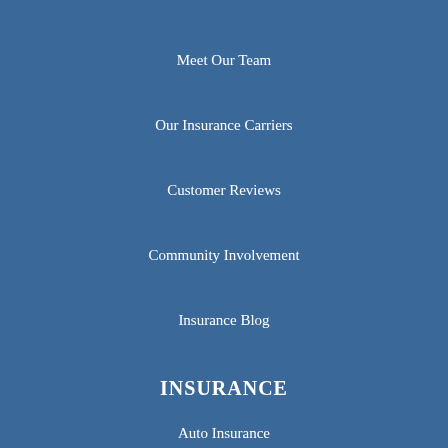Meet Our Team
Our Insurance Carriers
Customer Reviews
Community Involvement
Insurance Blog
INSURANCE
Auto Insurance